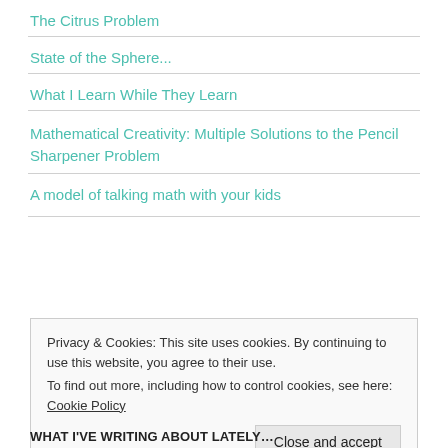The Citrus Problem
State of the Sphere...
What I Learn While They Learn
Mathematical Creativity: Multiple Solutions to the Pencil Sharpener Problem
A model of talking math with your kids
Privacy & Cookies: This site uses cookies. By continuing to use this website, you agree to their use.
To find out more, including how to control cookies, see here: Cookie Policy
Close and accept
WHAT I'VE WRITING ABOUT LATELY…